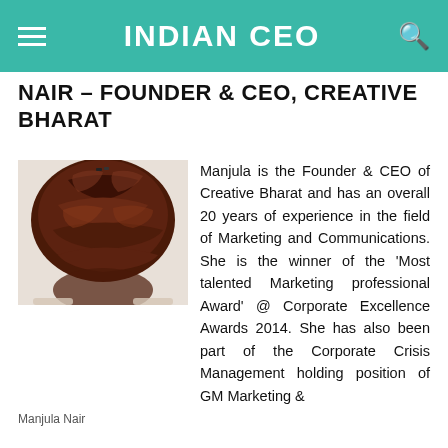INDIAN CEO
NAIR – FOUNDER & CEO, CREATIVE BHARAT
[Figure (photo): Close-up photo of Manjula Nair from behind showing her braided hair]
Manjula Nair
Manjula is the Founder & CEO of Creative Bharat and has an overall 20 years of experience in the field of Marketing and Communications. She is the winner of the 'Most talented Marketing professional Award' @ Corporate Excellence Awards 2014. She has also been part of the Corporate Crisis Management holding position of GM Marketing &